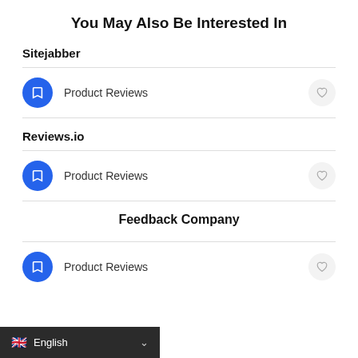You May Also Be Interested In
Sitejabber
Product Reviews
Reviews.io
Product Reviews
Feedback Company
Product Reviews
English